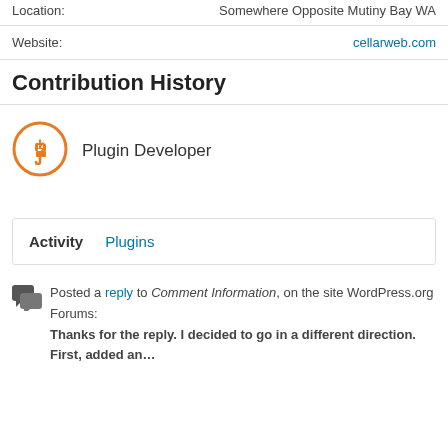Location:    Somewhere Opposite Mutiny Bay WA
Website:    cellarweb.com
Contribution History
[Figure (illustration): Orange circle icon with a plug/plugin symbol inside]
Plugin Developer
Activity    Plugins
Posted a reply to Comment Information, on the site WordPress.org Forums: Thanks for the reply. I decided to go in a different direction. First, added an...